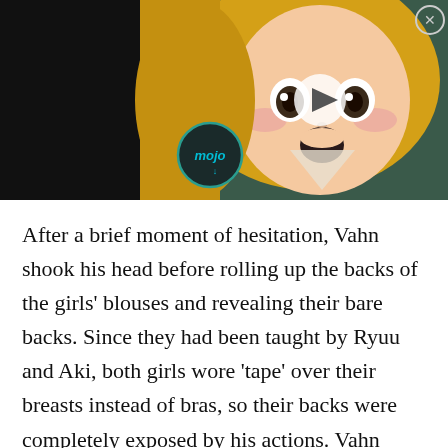[Figure (screenshot): Video thumbnail showing an anime character with blonde hair, surprised expression, with a WatchMojo-style mojo logo overlay and a play button in the center. Dark background on left and right. Close button (X) in top right corner.]
After a brief moment of hesitation, Vahn shook his head before rolling up the backs of the girls' blouses and revealing their bare backs. Since they had been taught by Ryuu and Aki, both girls wore 'tape' over their breasts instead of bras, so their backs were completely exposed by his actions. Vahn proceeded to prick the tip of his index finger before tracing it down Emiru's spine and drawing a line of blood. Her Status Board,